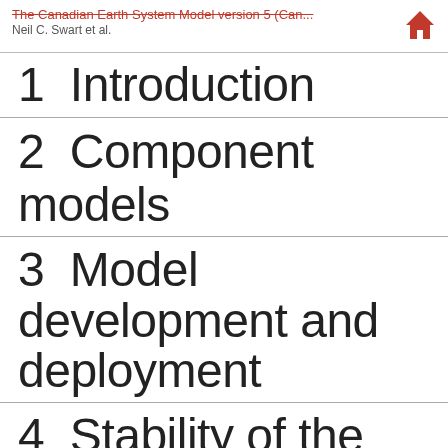The Canadian Earth System Model version 5 (Can... Neil C. Swart et al.
1  Introduction
2  Component models
3  Model development and deployment
4  Stability of the pre-industrial control